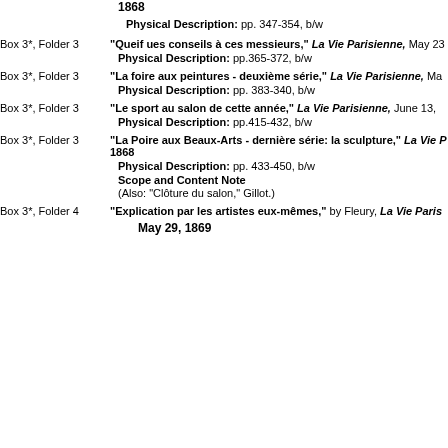1868
Physical Description: pp. 347-354, b/w
Box 3*, Folder 3 | "Queif ues conseils à ces messieurs," La Vie Parisienne, May 23 | Physical Description: pp.365-372, b/w
Box 3*, Folder 3 | "La foire aux peintures - deuxième série," La Vie Parisienne, Ma | Physical Description: pp. 383-340, b/w
Box 3*, Folder 3 | "Le sport au salon de cette année," La Vie Parisienne, June 13, | Physical Description: pp.415-432, b/w
Box 3*, Folder 3 | "La Poire aux Beaux-Arts - dernière série: la sculpture," La Vie P 1868 | Physical Description: pp. 433-450, b/w | Scope and Content Note | (Also: "Clôture du salon," Gillot.)
Box 3*, Folder 4 | "Explication par les artistes eux-mêmes," by Fleury, La Vie Paris | May 29, 1869